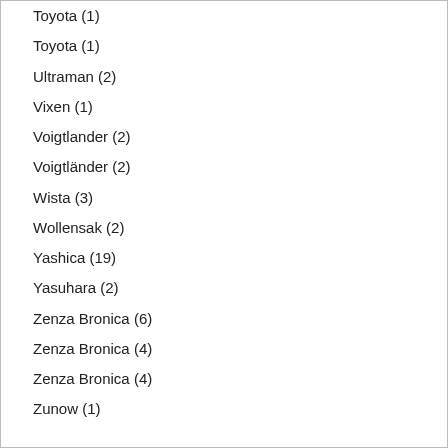Toyota (1)
Toyota (1)
Ultraman (2)
Vixen (1)
Voigtlander (2)
Voigtländer (2)
Wista (3)
Wollensak (2)
Yashica (19)
Yasuhara (2)
Zenza Bronica (6)
Zenza Bronica (4)
Zenza Bronica (4)
Zunow (1)